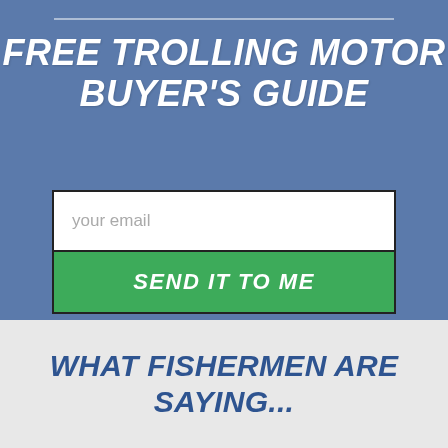FREE TROLLING MOTOR BUYER'S GUIDE
[Figure (other): Email input field with placeholder text 'your email' and a green 'SEND IT TO ME' button below it]
WHAT FISHERMEN ARE SAYING...